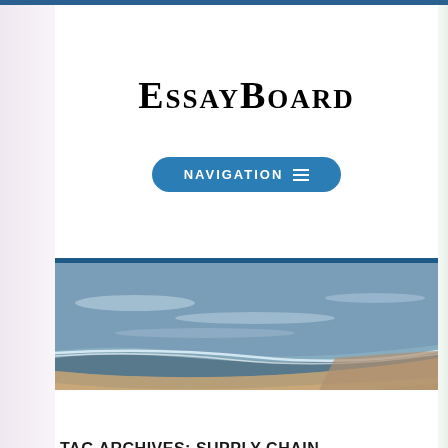EssayBoard
[Figure (other): Navigation button with hamburger menu icon, rounded pill shape in blue with text NAVIGATION]
[Figure (photo): Beach shoreline photo showing ocean waves meeting sandy shore at dusk/dawn, wide horizontal banner format]
TAG ARCHIVES: SUPPLY CHAIN